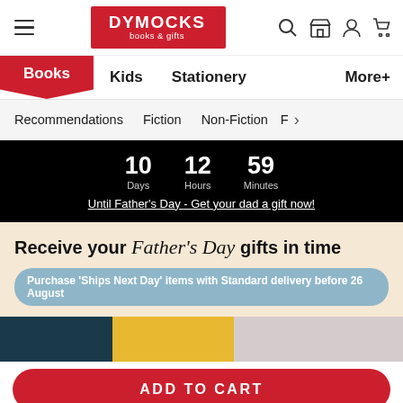Dymocks books & gifts — navigation header
Books | Kids | Stationery | More+
Recommendations | Fiction | Non-Fiction | F >
10 Days 12 Hours 59 Minutes — Until Father's Day - Get your dad a gift now!
[Figure (screenshot): Father's Day promotional banner: 'Receive your Father's Day gifts in time' with sub-text 'Purchase Ships Next Day items with Standard delivery before 26 August']
[Figure (screenshot): Partial book cover strip at bottom of page]
ADD TO CART